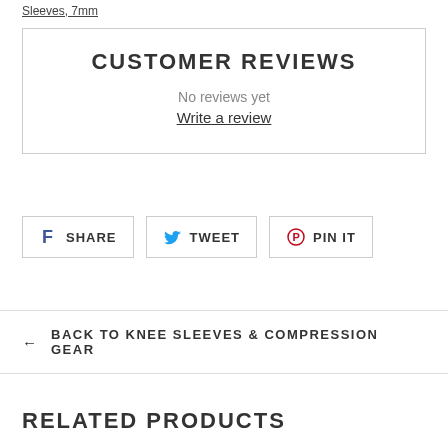Sleeves, 7mm
CUSTOMER REVIEWS
No reviews yet
Write a review
SHARE
TWEET
PIN IT
← BACK TO KNEE SLEEVES & COMPRESSION GEAR
RELATED PRODUCTS